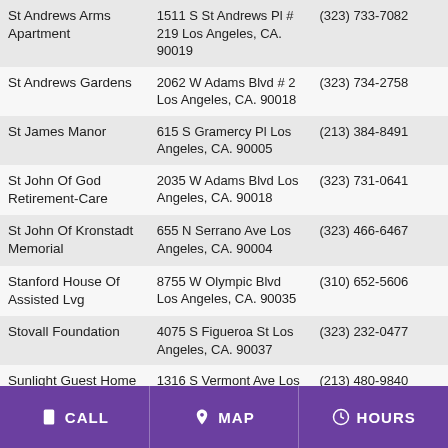| Name | Address | Phone |
| --- | --- | --- |
| St Andrews Arms Apartment | 1511 S St Andrews Pl # 219 Los Angeles, CA. 90019 | (323) 733-7082 |
| St Andrews Gardens | 2062 W Adams Blvd # 2 Los Angeles, CA. 90018 | (323) 734-2758 |
| St James Manor | 615 S Gramercy Pl Los Angeles, CA. 90005 | (213) 384-8491 |
| St John Of God Retirement-Care | 2035 W Adams Blvd Los Angeles, CA. 90018 | (323) 731-0641 |
| St John Of Kronstadt Memorial | 655 N Serrano Ave Los Angeles, CA. 90004 | (323) 466-6467 |
| Stanford House Of Assisted Lvg | 8755 W Olympic Blvd Los Angeles, CA. 90035 | (310) 652-5606 |
| Stovall Foundation | 4075 S Figueroa St Los Angeles, CA. 90037 | (323) 232-0477 |
| Sunlight Guest Home | 1316 S Vermont Ave Los Angeles, CA. 90006 | (213) 480-9840 |
| Sunnyview Convalescent Home | 2000 W Washington Blvd Los Angeles, CA. 90018 | (323) 735-5146 |
CALL   MAP   HOURS